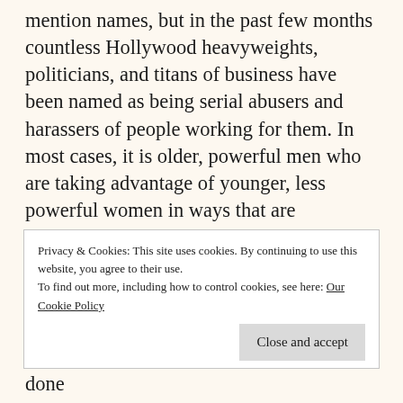mention names, but in the past few months countless Hollywood heavyweights, politicians, and titans of business have been named as being serial abusers and harassers of people working for them. In most cases, it is older, powerful men who are taking advantage of younger, less powerful women in ways that are downright sickening. One particular story hit me quite close to home, as my family knew the family of one of those in the headlines. The thought that my daughters are being raised in this world where this type of stuff happens is not just worrisome, it angers me. It shakes me
Privacy & Cookies: This site uses cookies. By continuing to use this website, you agree to their use.
To find out more, including how to control cookies, see here: Our Cookie Policy
Close and accept
abusers, so I commend those who have done